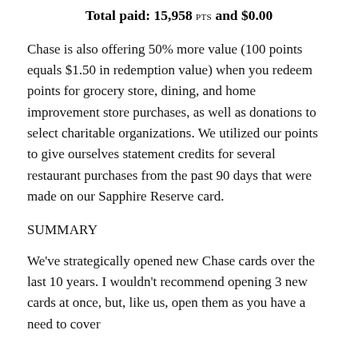Total paid: 15,958 PTS and $0.00
Chase is also offering 50% more value (100 points equals $1.50 in redemption value) when you redeem points for grocery store, dining, and home improvement store purchases, as well as donations to select charitable organizations. We utilized our points to give ourselves statement credits for several restaurant purchases from the past 90 days that were made on our Sapphire Reserve card.
SUMMARY
We've strategically opened new Chase cards over the last 10 years. I wouldn't recommend opening 3 new cards at once, but, like us, open them as you have a need to cover